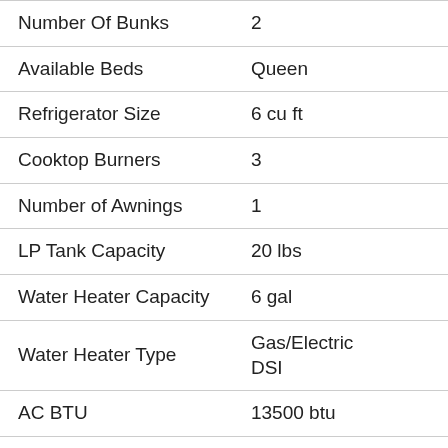| Feature | Value |
| --- | --- |
| Number Of Bunks | 2 |
| Available Beds | Queen |
| Refrigerator Size | 6 cu ft |
| Cooktop Burners | 3 |
| Number of Awnings | 1 |
| LP Tank Capacity | 20 lbs |
| Water Heater Capacity | 6 gal |
| Water Heater Type | Gas/Electric DSI |
| AC BTU | 13500 btu |
| Awning Info | 16' Power w/ LED Lights |
| Axle Count | 2 |